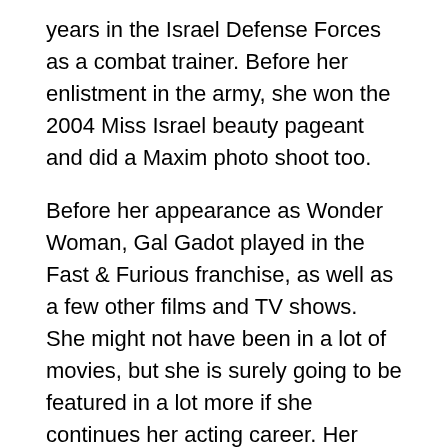years in the Israel Defense Forces as a combat trainer. Before her enlistment in the army, she won the 2004 Miss Israel beauty pageant and did a Maxim photo shoot too.
Before her appearance as Wonder Woman, Gal Gadot played in the Fast & Furious franchise, as well as a few other films and TV shows. She might not have been in a lot of movies, but she is surely going to be featured in a lot more if she continues her acting career. Her newly acquired fame should be enough to land a few major roles in the upcoming years.
She played Gisele in the movie Furious 7. If you missed this one, make sure to watch it here!
With the new Wonder Woman movie receiving